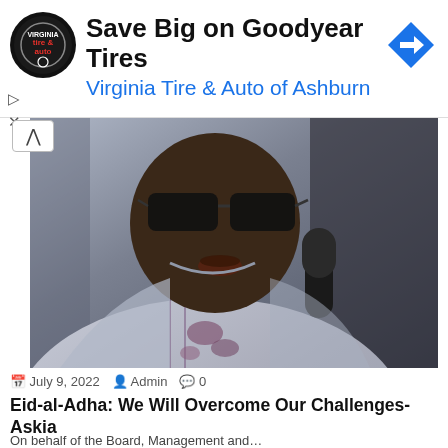[Figure (other): Advertisement banner for Virginia Tire & Auto of Ashburn featuring Goodyear Tires with circular logo and navigation arrow icon]
Save Big on Goodyear Tires
Virginia Tire & Auto of Ashburn ...
[Figure (photo): Close-up photo of a heavyset man wearing dark sunglasses and a patterned traditional African outfit (agbada), speaking into a microphone]
July 9, 2022  Admin  0
Eid-al-Adha: We Will Overcome Our Challenges- Askia
On behalf of the Board, Management and…